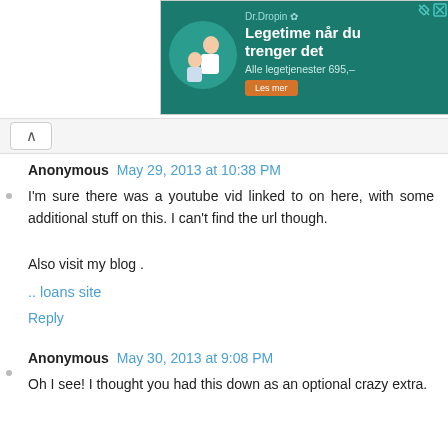[Figure (screenshot): Advertisement banner for Dr.Dropin medical service showing text 'Legetime når du trenger det' and 'Alle legetjenester 695,-' with a doctor image on teal/green background]
Anonymous May 29, 2013 at 10:38 PM
I'm sure there was a youtube vid linked to on here, with some additional stuff on this. I can't find the url though.
Also visit my blog .
.. loans site
Reply
Anonymous May 30, 2013 at 9:08 PM
Oh I see! I thought you had this down as an optional crazy extra.